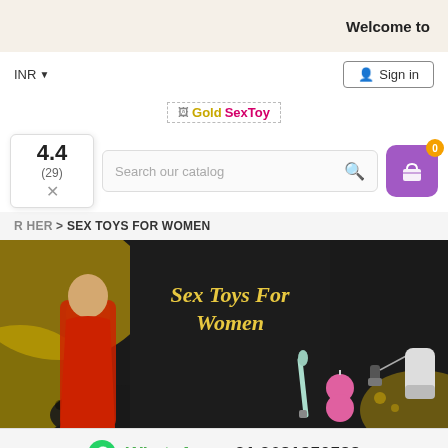Welcome to
INR ▼
Sign in
Gold SexToy
Search our catalog
4.4
(29)
×
OR HER > SEX TOYS FOR WOMEN
[Figure (photo): Banner image for Sex Toys For Women category showing a woman in a red swimsuit with product images (dildo, kegel balls, vibrator) on dark background with gold accents. Text reads 'Sex Toys For Women' in gold italic script.]
WhatsApp +91 9681850528